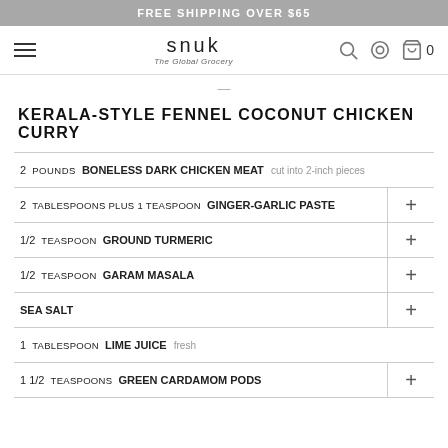FREE SHIPPING OVER $65
snuk – The Global Grocery, nav icons
KERALA-STYLE FENNEL COCONUT CHICKEN CURRY
2 POUNDS BONELESS DARK CHICKEN MEAT cut into 2-inch pieces
2 TABLESPOONS PLUS 1 TEASPOON GINGER-GARLIC PASTE
1/2 TEASPOON GROUND TURMERIC
1/2 TEASPOON GARAM MASALA
SEA SALT
1 TABLESPOON LIME JUICE fresh
1 1/2 TEASPOONS GREEN CARDAMOM PODS